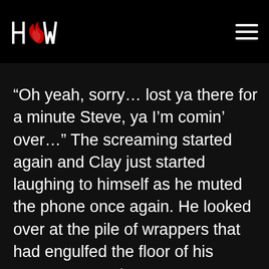[Figure (logo): HOW logo with flame icon in red and white text on black background, plus hamburger menu icon on right]
“Oh yeah, sorry… lost ya there for a minute Steve, ya I’m comin’ over…” The screaming started again and Clay just started laughing to himself as he muted the phone once again. He looked over at the pile of wrappers that had engulfed the floor of his passenger seat.